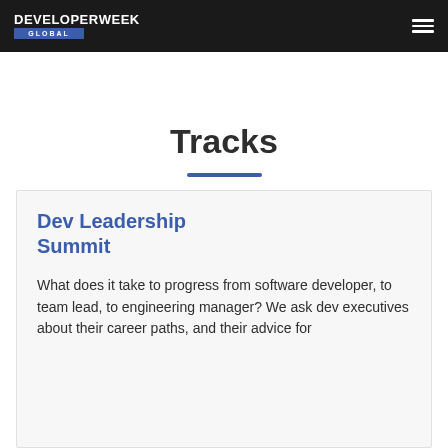DEVELOPERWEEK GLOBAL
Tracks
Dev Leadership Summit
What does it take to progress from software developer, to team lead, to engineering manager? We ask dev executives about their career paths, and their advice for